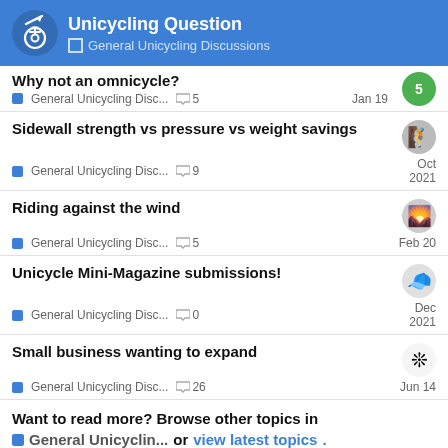Unicycling Question — General Unicycling Discussions
Why not an omnicycle? — General Unicycling Disc... — 5 replies — Jan 19
Sidewall strength vs pressure vs weight savings — General Unicycling Disc... — 9 replies — Oct 2021
Riding against the wind — General Unicycling Disc... — 5 replies — Feb 20
Unicycle Mini-Magazine submissions! — General Unicycling Disc... — 0 replies — Dec 2021
Small business wanting to expand — General Unicycling Disc... — 26 replies — Jun 14
Want to read more? Browse other topics in General Unicyclin... or view latest topics.